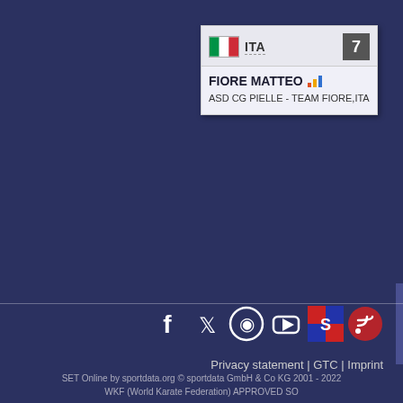[Figure (infographic): Athlete card for FIORE MATTEO from Italy, seed number 7, club ASD CG PIELLE - TEAM FIORE, ITA]
[Figure (infographic): Social media icons: Facebook, Twitter, Instagram, YouTube, Sportdata, RSS feed]
Privacy statement | GTC | Imprint
SET Online by sportdata.org © sportdata GmbH & Co KG 2001 - 2022 WKF (World Karate Federation) APPROVED SO